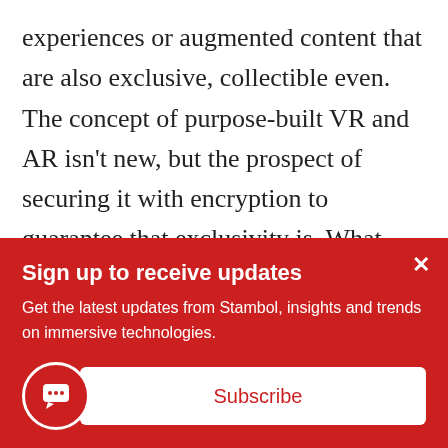experiences or augmented content that are also exclusive, collectible even. The concept of purpose-built VR and AR isn't new, but the prospect of securing it with encryption to guarantee that exclusivity is. What exactly will this look like? Will NFTs break out of their current corrals and start showing up as one-of-a-kind loot
Sign up to receive updates
Get the latest updates from Stambol, insights and trends on immersive technologies.
Subscribe